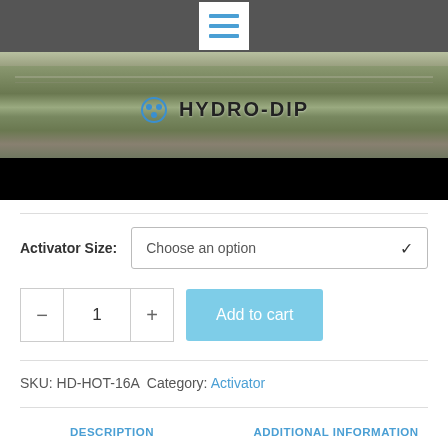Menu navigation icon
[Figure (photo): Product photo of a Hydro-Dip tank/machine, stainless steel, with the HYDRO-DIP brand name visible at the top]
Activator Size: Choose an option
1  Add to cart
SKU: HD-HOT-16A  Category: Activator
DESCRIPTION    ADDITIONAL INFORMATION